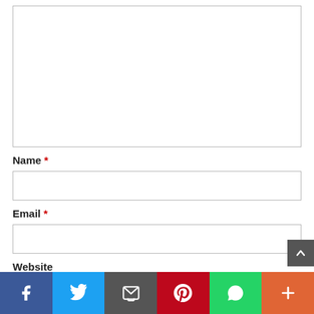[Figure (other): A large empty comment text area input box with a light gray border]
Name *
[Figure (other): A single-line text input field for Name]
Email *
[Figure (other): A single-line text input field for Email]
Website
[Figure (other): A single-line text input field for Website (partially visible)]
[Figure (other): Social sharing bar with buttons: Facebook (blue), Twitter (light blue), Email (gray), Pinterest (red), WhatsApp (green), More (orange)]